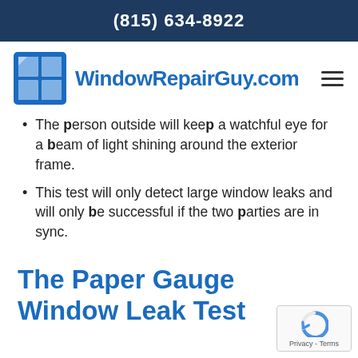(815) 634-8922
[Figure (logo): WindowRepairGuy.com logo with blue window icon and site name]
The person outside will keep a watchful eye for a beam of light shining around the exterior frame.
This test will only detect large window leaks and will only be successful if the two parties are in sync.
The Paper Gauge Window Leak Test